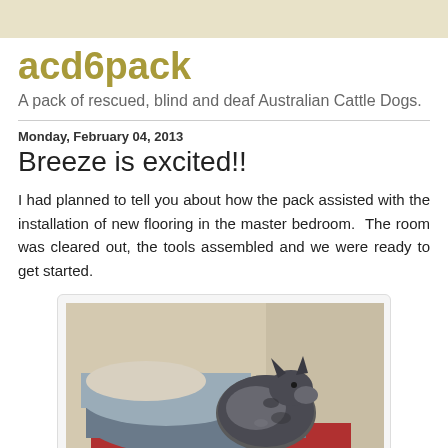acd6pack
A pack of rescued, blind and deaf Australian Cattle Dogs.
Monday, February 04, 2013
Breeze is excited!!
I had planned to tell you about how the pack assisted with the installation of new flooring in the master bedroom.  The room was cleared out, the tools assembled and we were ready to get started.
[Figure (photo): A dog (Australian Cattle Dog) curled up on colorful bedding/quilts piled against a wall in a room being cleared out.]